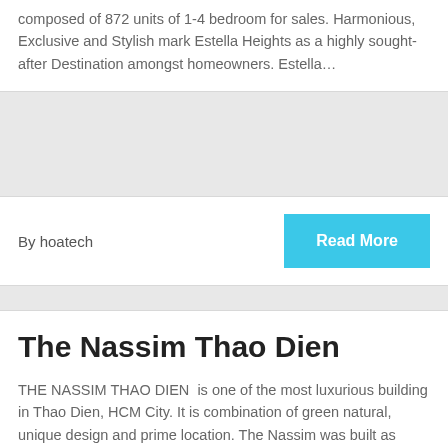composed of 872 units of 1-4 bedroom for sales. Harmonious, Exclusive and Stylish mark Estella Heights as a highly sought-after Destination amongst homeowners. Estella…
By hoatech
Read More
The Nassim Thao Dien
THE NASSIM THAO DIEN  is one of the most luxurious building in Thao Dien, HCM City. It is combination of green natural, unique design and prime location. The Nassim was built as wonderful living space with high standard and modern lifestyle. Property Name: THE NASSIM Property Type: High-end Codominium Location: No 30 Street 11 Thao…